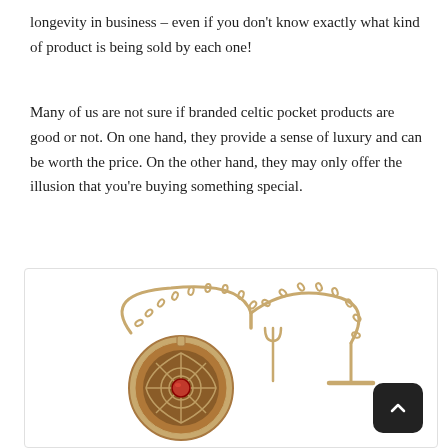longevity in business – even if you don't know exactly what kind of product is being sold by each one!
Many of us are not sure if branded celtic pocket products are good or not. On one hand, they provide a sense of luxury and can be worth the price. On the other hand, they may only offer the illusion that you're buying something special.
[Figure (photo): A gold celtic pocket watch with intricate knotwork design and a red gemstone, shown with its chain and T-bar fob.]